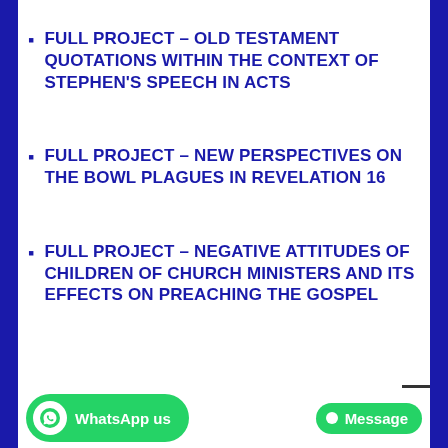FULL PROJECT – OLD TESTAMENT QUOTATIONS WITHIN THE CONTEXT OF STEPHEN'S SPEECH IN ACTS
FULL PROJECT – NEW PERSPECTIVES ON THE BOWL PLAGUES IN REVELATION 16
FULL PROJECT – NEGATIVE ATTITUDES OF CHILDREN OF CHURCH MINISTERS AND ITS EFFECTS ON PREACHING THE GOSPEL